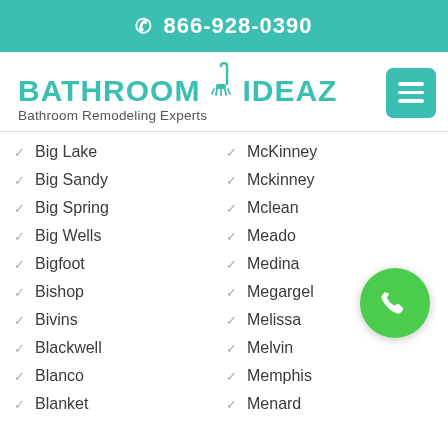866-928-0390
[Figure (logo): Bathroom Ideaz logo with shower head icon and tagline 'Bathroom Remodeling Experts']
Big Lake
Big Sandy
Big Spring
Big Wells
Bigfoot
Bishop
Bivins
Blackwell
Blanco
Blanket
McKinney
Mckinney
Mclean
Meado[cut off]
Medina
Megargel
Melissa
Melvin
Memphis
Menard